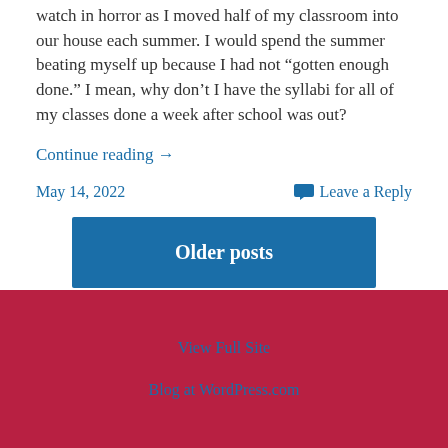watch in horror as I moved half of my classroom into our house each summer.  I would spend the summer beating myself up because I had not “gotten enough done.”  I mean, why don’t I have the syllabi for all of my classes done a week after school was out?
Continue reading →
May 14, 2022
Leave a Reply
Older posts
View Full Site
Blog at WordPress.com